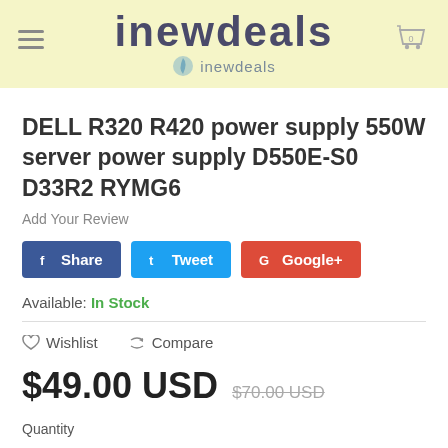[Figure (logo): inewdeals logo with hamburger menu icon on the left and shopping cart icon on the right, on a light yellow background]
DELL R320 R420 power supply 550W server power supply D550E-S0 D33R2 RYMG6
Add Your Review
Share  Tweet  Google+
Available: In Stock
Wishlist  Compare
$49.00 USD  $70.00 USD
Quantity